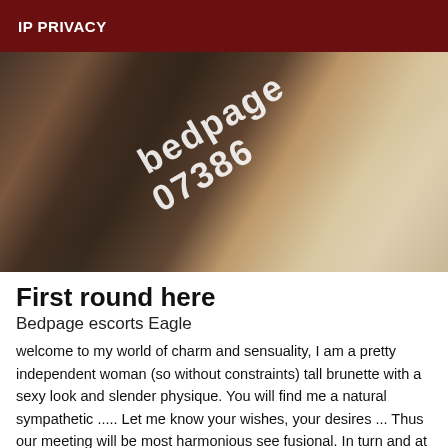IP PRIVACY
[Figure (photo): Woman in black dress posing on sandy beach, with Bedpage watermark text overlaid diagonally]
First round here
Bedpage escorts Eagle
welcome to my world of charm and sensuality, I am a pretty independent woman (so without constraints) tall brunette with a sexy look and slender physique. You will find me a natural sympathetic ..... Let me know your wishes, your desires ... Thus our meeting will be most harmonious see fusional. In turn and at your